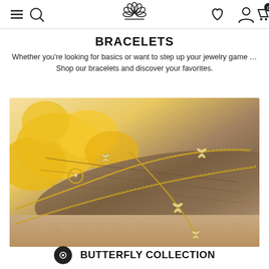Navigation bar with menu, search, logo, heart, account, and cart icons
BRACELETS
Whether you're looking for basics or want to step up your jewelry game … Shop our bracelets and discover your favorites.
[Figure (photo): Gold butterfly charm bracelets and chains displayed on driftwood with yellow flowers and sand background]
BUTTERFLY COLLECTION